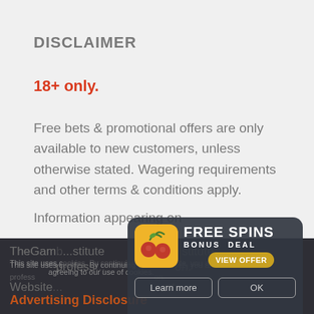DISCLAIMER
18+ only.
Free bets & promotional offers are only available to new customers, unless otherwise stated. Wagering requirements and other terms & conditions apply.
Information appearing on
TheGam... stitute profess... on.
This site uses cookies. By continuing to use the site, you are agreeing to our use of cookies.
Website... nt.
Advertising Disclosure
[Figure (infographic): FREE SPINS BONUS DEAL popup overlay with cherry icon, VIEW OFFER button, Learn more and OK buttons]